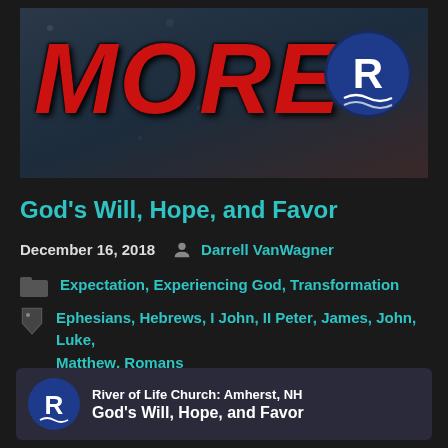[Figure (illustration): Banner image with large red italic text 'MORE' on a dark background with a River of Life Church circular logo (blue circle with white R letter and wave design) in the top right corner]
God's Will, Hope, and Favor
December 16, 2018   Darrell VanWagner
Expectation, Experiencing God, Transformation
Ephesians, Hebrews, I John, II Peter, James, John, Luke, Matthew, Romans
River of Life Church: Amherst, NH
God's Will, Hope, and Favor